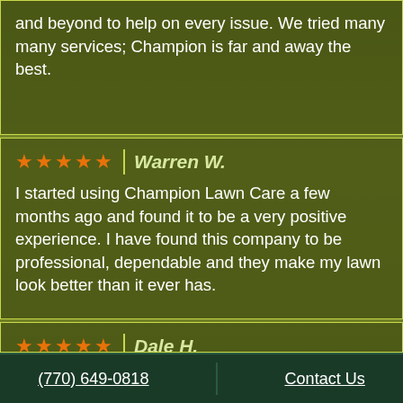and beyond to help on every issue. We tried many many services; Champion is far and away the best.
Warren W.
I started using Champion Lawn Care a few months ago and found it to be a very positive experience. I have found this company to be professional, dependable and they make my lawn look better than it ever has.
Dale H.
We've used Champion for 3 different jobs. All were on schedule, high quality, and they did
(770) 649-0818    Contact Us